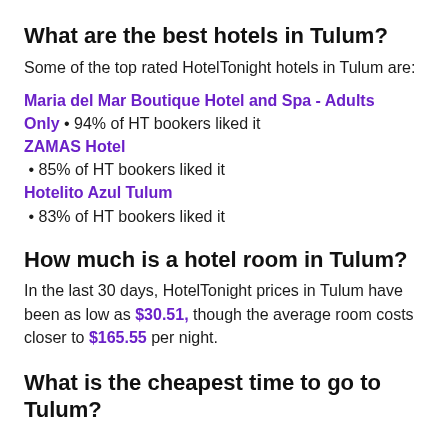What are the best hotels in Tulum?
Some of the top rated HotelTonight hotels in Tulum are:
Maria del Mar Boutique Hotel and Spa - Adults Only • 94% of HT bookers liked it
ZAMAS Hotel • 85% of HT bookers liked it
Hotelito Azul Tulum • 83% of HT bookers liked it
How much is a hotel room in Tulum?
In the last 30 days, HotelTonight prices in Tulum have been as low as $30.51, though the average room costs closer to $165.55 per night.
What is the cheapest time to go to Tulum?